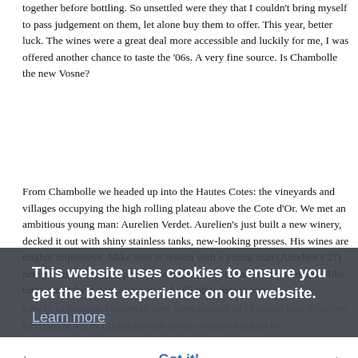together before bottling. So unsettled were they that I couldn't bring myself to pass judgement on them, let alone buy them to offer. This year, better luck. The wines were a great deal more accessible and luckily for me, I was offered another chance to taste the '06s. A very fine source. Is Chambolle the new Vosne?
From Chambolle we headed up into the Hautes Cotes: the vineyards and villages occupying the high rolling plateau above the Cote d'Or. We met an ambitious young man: Aurelien Verdet. Aurelien's just built a new winery, decked it out with shiny stainless tanks, new-looking presses. His wines are mighty impressive. Mike tries to reason with a young man (Aurelien's 27) determined to raise his prices in a nightmarish economic situation. If Mike turns out to have been successful, I will offer these wines.
Lunch: In Beaune. Gesiers to start, then a chunk of charolais beef to follow. Everything below my breastbone groans when we get up to
Jean-Pierre Charlot is son-in-law of Joseph Voillot and makes the wine at this exemplary estate. He is larger than life, his size not reflected in the delicacy of the wine he makes. We are offered a string of Volnays and Pommards, each more intense than its already intense antecedent. These are beautiful, subtle, complex
This website uses cookies to ensure you get the best experience on our website.
Learn more
Got it!